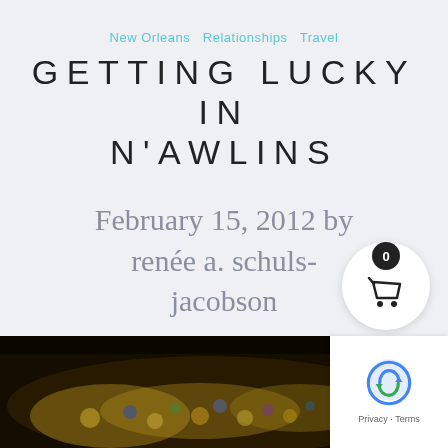New Orleans  Relationships  Travel
GETTING LUCKY IN N'AWLINS
February 15, 2012 by renée a. schuls-jacobson
[Figure (photo): Close-up photo of Mardi Gras jewelry/beads with gold and colorful decorations]
[Figure (other): Shopping cart widget showing 0 items, white circle with basket icon and black badge showing 0]
[Figure (other): Google reCAPTCHA widget in bottom right corner with Privacy and Terms links]